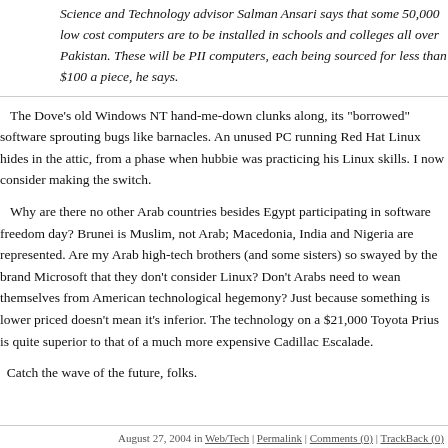Science and Technology advisor Salman Ansari says that some 50,000 low cost computers are to be installed in schools and colleges all over Pakistan. These will be PII computers, each being sourced for less than $100 a piece, he says.
The Dove's old Windows NT hand-me-down clunks along, its "borrowed" software sprouting bugs like barnacles. An unused PC running Red Hat Linux hides in the attic, from a phase when hubbie was practicing his Linux skills. I now consider making the switch.
Why are there no other Arab countries besides Egypt participating in software freedom day? Brunei is Muslim, not Arab; Macedonia, India and Nigeria are represented. Are my Arab high-tech brothers (and some sisters) so swayed by the brand Microsoft that they don't consider Linux? Don't Arabs need to wean themselves from American technological hegemony? Just because something is lower priced doesn't mean it's inferior. The technology on a $21,000 Toyota Prius is quite superior to that of a much more expensive Cadillac Escalade.
Catch the wave of the future, folks.
August 27, 2004 in Web/Tech | Permalink | Comments (0) | TrackBack (0)